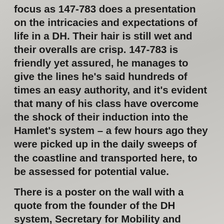focus as 147-783 does a presentation on the intricacies and expectations of life in a DH. Their hair is still wet and their overalls are crisp. 147-783 is friendly yet assured, he manages to give the lines he's said hundreds of times an easy authority, and it's evident that many of his class have overcome the shock of their induction into the Hamlet's system – a few hours ago they were picked up in the daily sweeps of the coastline and transported here, to be assessed for potential value.
There is a poster on the wall with a quote from the founder of the DH system, Secretary for Mobility and Integration, Dominique Standish: 'We are interested in making devoted citizens. Hard-working citizens. A country squanders its social capital at its peril.'
As he's preparing the room for tomorrow's intake, 147-783 says: 'I have a recurring dream where I have a